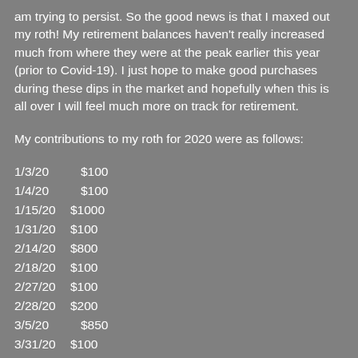am trying to persist. So the good news is that I maxed out my roth! My retirement balances haven't really increased much from where they were at the peak earlier this year (prior to Covid-19). I just hope to make good purchases during these dips in the market and hopefully when this is all over I will feel much more on track for retirement.
My contributions to my roth for 2020 were as follows:
1/3/20   $100
1/4/20   $100
1/15/20 $1000
1/31/20 $100
2/14/20 $800
2/18/20 $100
2/27/20 $100
2/28/20 $200
3/5/20   $850
3/31/20 $100
4/15/20 $1000
5/1/20   $100
5/30/20 $100